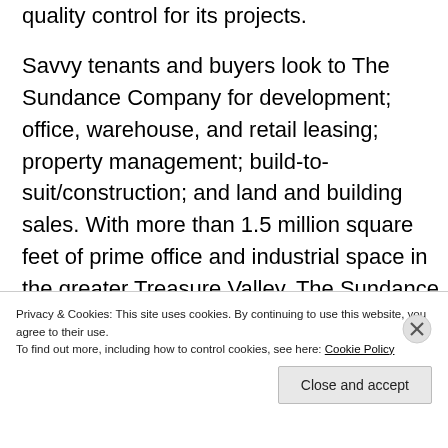quality control for its projects.

Savvy tenants and buyers look to The Sundance Company for development; office, warehouse, and retail leasing; property management; build-to-suit/construction; and land and building sales. With more than 1.5 million square feet of prime office and industrial space in the greater Treasure Valley, The Sundance Company has the size and
Privacy & Cookies: This site uses cookies. By continuing to use this website, you agree to their use.
To find out more, including how to control cookies, see here: Cookie Policy